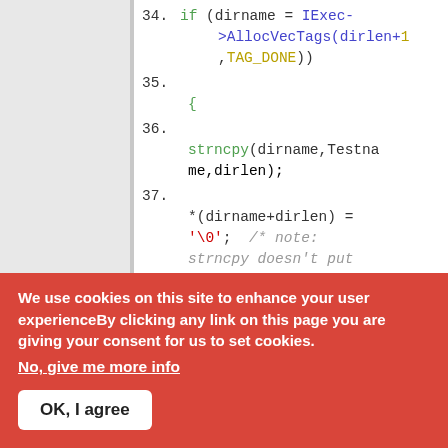[Figure (screenshot): Code snippet showing C code lines 34-38. Line 34: if (dirname = IExec->AllocVecTags(dirlen+1,TAG_DONE)). Line 35: {. Line 36: strncpy(dirname,Testname,dirlen);. Line 37: *(dirname+dirlen) = '\0'; /* note: strncpy doesn't put NUL if strlen(Testname) > dirlen! */. Line 38: }.]
We use cookies on this site to enhance your user experienceBy clicking any link on this page you are giving your consent for us to set cookies.
No, give me more info
OK, I agree